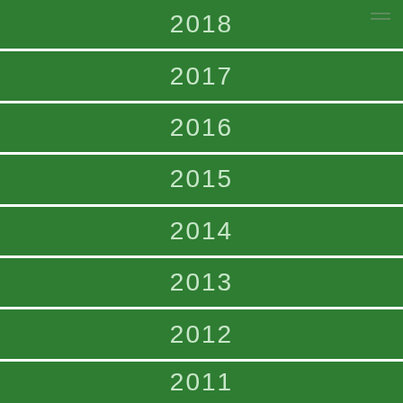2018
2017
2016
2015
2014
2013
2012
2011